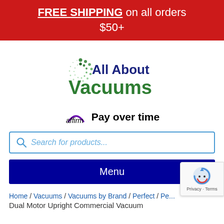FREE SHIPPING on all orders $50+
[Figure (logo): All About Vacuums logo with green starburst/pinwheel icon and blue/green text]
affirm Pay over time
Search for products...
Menu
Home / Vacuums / Vacuums by Brand / Perfect / Pe... Dual Motor Upright Commercial Vacuum